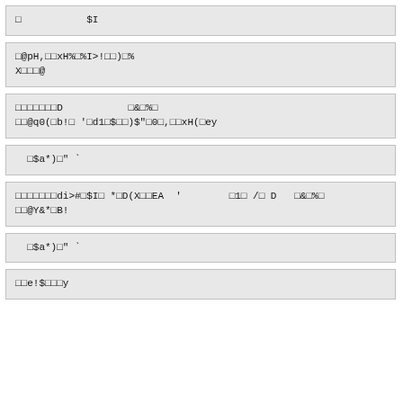□           $I
□@pH,□□xH%□%I>!□□)□%
X□□□@
□□□□□□□D           □&□%□
□□@q0(□b!□'□d1□$□□)$"□0□,□□xH(□ey
□$a*)□"ˆ
□□□□□□□di>#□$I□*□D(X□□EA  '        □1□/□D   □&□%□
□□@Y&*□B!
□$a*)□"ˆ
□□e!$□□□y